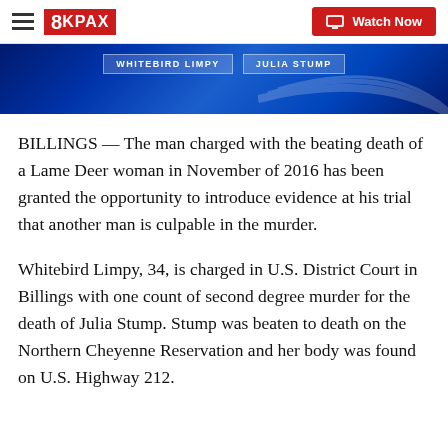8KPAX | Watch Now
[Figure (screenshot): Blue gradient TV graphic with name tags reading WHITEBIRD LIMPY and JULIA STUMP]
BILLINGS — The man charged with the beating death of a Lame Deer woman in November of 2016 has been granted the opportunity to introduce evidence at his trial that another man is culpable in the murder.
Whitebird Limpy, 34, is charged in U.S. District Court in Billings with one count of second degree murder for the death of Julia Stump. Stump was beaten to death on the Northern Cheyenne Reservation and her body was found on U.S. Highway 212.